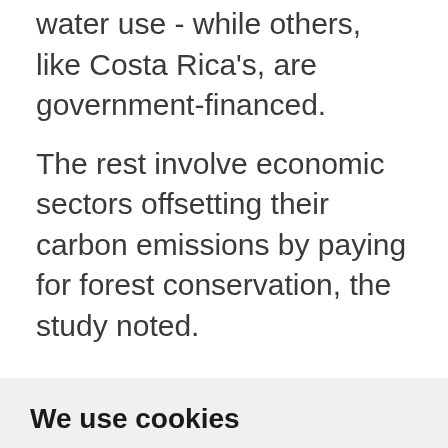water use - while others, like Costa Rica's, are government-financed.
The rest involve economic sectors offsetting their carbon emissions by paying for forest conservation, the study noted.
We use cookies
We use cookies and other tracking technologies to improve your browsing experience on our website, to show you personalized content and targeted ads, to analyze our website traffic, and to understand where our visitors are coming from.